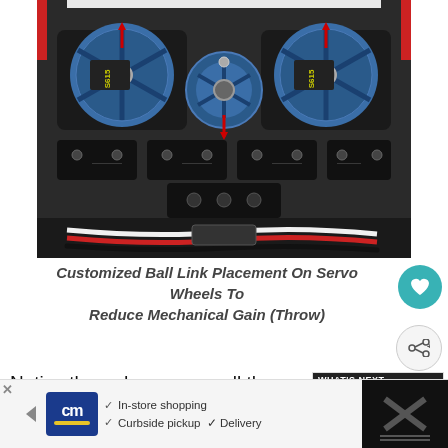[Figure (photo): Overhead view of RC helicopter servo assembly showing two S615 servos with blue servo wheels/discs, wiring harness with red/white/black cables, and mechanical linkage components. Red arrows visible on servo wheels indicating ball link placement positions.]
Customized Ball Link Placement On Servo Wheels To Reduce Mechanical Gain (Throw)
Notice the red arrows on all the serv... where the balls & links are mounted... I actually had to drill & tap those new locations
[Figure (photo): WHAT'S NEXT thumbnail showing BLADE 130X RC... with small helicopter image]
[Figure (other): Advertisement banner: cm logo (Currys/CM), In-store shopping, Curbside pickup, Delivery, with navigation arrow icon and dark overlay section]